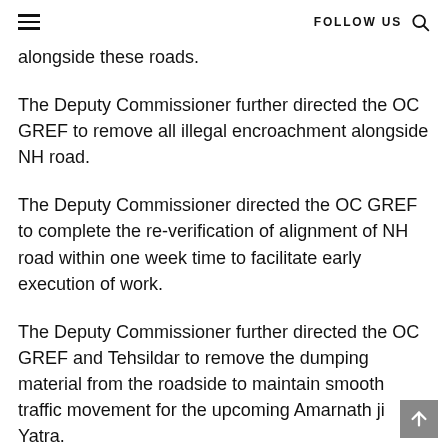≡  FOLLOW US 🔍
alongside these roads.
The Deputy Commissioner further directed the OC GREF to remove all illegal encroachment alongside NH road.
The Deputy Commissioner directed the OC GREF to complete the re-verification of alignment of NH road within one week time to facilitate early execution of work.
The Deputy Commissioner further directed the OC GREF and Tehsildar to remove the dumping material from the roadside to maintain smooth traffic movement for the upcoming Amarnath ji Yatra.